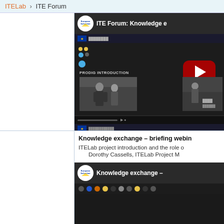ITELab › ITE Forum
[Figure (screenshot): YouTube video thumbnail for 'ITE Forum: Knowledge e...' showing a dark screen with European Schoolnet logo, PRODIG INTRODUCTION text, and a red YouTube play button overlay]
Knowledge exchange – briefing webin...
ITELab project introduction and the role o...
Dorothy Cassells, ITELab Project M...
[Figure (screenshot): YouTube video thumbnail for 'Knowledge exchange –...' showing European Schoolnet logo and colored dots]